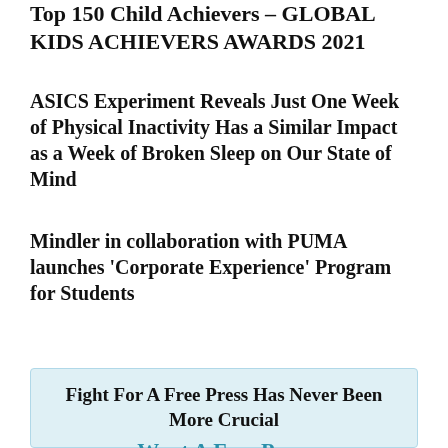Top 150 Child Achievers – GLOBAL KIDS ACHIEVERS AWARDS 2021
ASICS Experiment Reveals Just One Week of Physical Inactivity Has a Similar Impact as a Week of Broken Sleep on Our State of Mind
Mindler in collaboration with PUMA launches 'Corporate Experience' Program for Students
Fight For A Free Press Has Never Been More Crucial
Want A Free Press